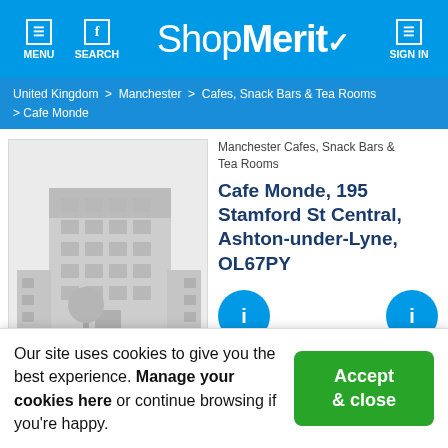MENU  SEARCH  ShopMerit  SIGN IN
United Kingdom > Manchester > Cafes, Snack Bars & Tea Rooms > Cafe Monde
[Figure (illustration): Placeholder illustration of a grey office building with a tree in front, on a light grey background]
Manchester Cafes, Snack Bars & Tea Rooms
Cafe Monde, 195 Stamford St Central, Ashton-under-Lyne, OL67PY
Restaurant Deals
Restaurant deals in Ashton-under-Lyne   Claim Business Listing
Our site uses cookies to give you the best experience. Manage your cookies here or continue browsing if you're happy.